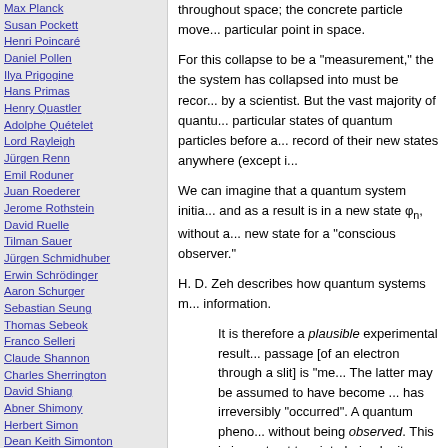Max Planck
Susan Pockett
Henri Poincaré
Daniel Pollen
Ilya Prigogine
Hans Primas
Henry Quastler
Adolphe Quételet
Lord Rayleigh
Jürgen Renn
Emil Roduner
Juan Roederer
Jerome Rothstein
David Ruelle
Tilman Sauer
Jürgen Schmidhuber
Erwin Schrödinger
Aaron Schurger
Sebastian Seung
Thomas Sebeok
Franco Selleri
Claude Shannon
Charles Sherrington
David Shiang
Abner Shimony
Herbert Simon
Dean Keith Simonton
Edmund Sinnott
B. F. Skinner
Lee Smolin
Ray Solomonoff
Roger Sperry
John Stachel
Henry Stapp
Tom Stonier
Antoine Suarez
Leo Szilard
Max Tegmark
throughout space; the concrete particle move... particular point in space.
For this collapse to be a "measurement," the the system has collapsed into must be recor... by a scientist. But the vast majority of quantu... particular states of quantum particles before a... record of their new states anywhere (except i...
We can imagine that a quantum system initia... and as a result is in a new state φ_n, without a... new state for a "conscious observer."
H. D. Zeh describes how quantum systems m... information.
It is therefore a plausible experimental result... passage [of an electron through a slit] is "me... The latter may be assumed to have become ... has irreversibly "occurred". A quantum pheno... without being observed. This is in contrast to... into being by its observation, or a wave func... spoke of objective irreversible events occurrin... irreversible quantum event? According to Bo...
Analysis within the quantum mechanical form... essential condition for this "decoherence" is ... carried away in some objective physical form... now quantum correlated (entangled) with the... passage through a specific slit). This need n... measurement); the "information" may as w...